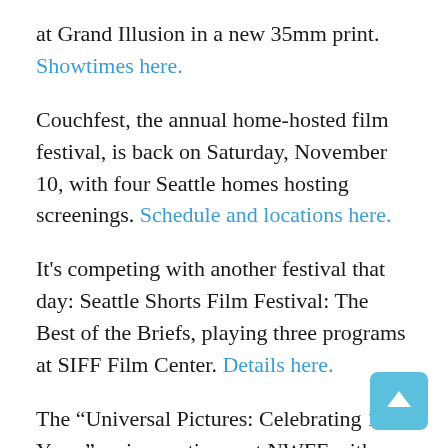at Grand Illusion in a new 35mm print. Showtimes here.
Couchfest, the annual home-hosted film festival, is back on Saturday, November 10, with four Seattle homes hosting screenings. Schedule and locations here.
It's competing with another festival that day: Seattle Shorts Film Festival: The Best of the Briefs, playing three programs at SIFF Film Center. Details here.
The “Universal Pictures: Celebrating 100 Years” series continues at NWFF with new prints of Jaws (Friday, November 9), Francis the Talking Mule (Saturday, November 10), The Sting (Saturday, November 10), and Pillow Talk (Sunday, November 11), as well as screenings of Do The Right Thing